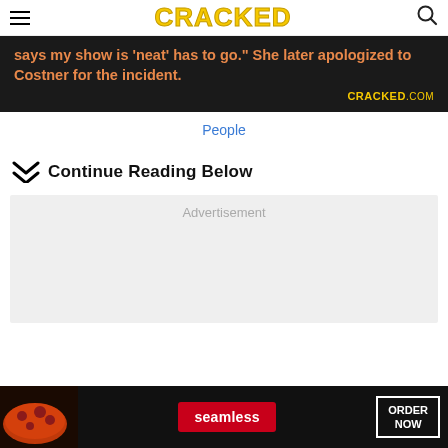CRACKED
[Figure (screenshot): Dark banner advertisement with orange text reading: 'says my show is "neat" has to go." She later apologized to Costner for the incident.' with CRACKED.COM branding in yellow on the right]
People
Continue Reading Below
[Figure (other): Grey advertisement placeholder box with 'Advertisement' label]
[Figure (screenshot): Bottom banner ad for Seamless food delivery with pizza image, Seamless logo in red, and ORDER NOW button]